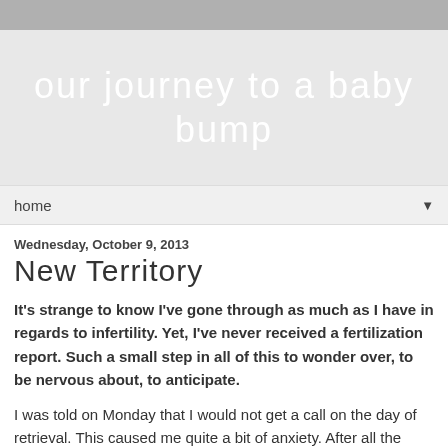our journey to a baby bump
home
Wednesday, October 9, 2013
New Territory
It's strange to know I've gone through as much as I have in regards to infertility. Yet, I've never received a fertilization report. Such a small step in all of this to wonder over, to be nervous about, to anticipate.
I was told on Monday that I would not get a call on the day of retrieval. This caused me quite a bit of anxiety. After all the waiting and ups and downs these past few weeks, don't they